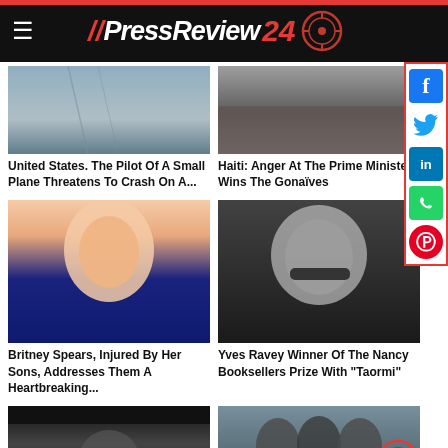[Figure (logo): PressReview24 logo with red double slashes, white italic text, red 24, and target/crosshair circle on black header bar]
[Figure (photo): Sky/aerial photo - top portion of article card for small plane story]
[Figure (photo): Crowd photo - top portion of article card for Haiti prime minister story]
United States. The Pilot Of A Small Plane Threatens To Crash On A...
Haiti: Anger At The Prime Minister Wins The Gonaïves
[Figure (photo): Britney Spears photo - blonde woman in dark halter dress]
[Figure (photo): Yves Ravey photo - bald older man with glasses on dark background]
Britney Spears, Injured By Her Sons, Addresses Them A Heartbreaking...
Yves Ravey Winner Of The Nancy Booksellers Prize With "Taormi"
[Figure (photo): Bottom left article image - man in dark setting]
[Figure (photo): Bottom right article image - group of people outdoors with red circle/badge overlay]